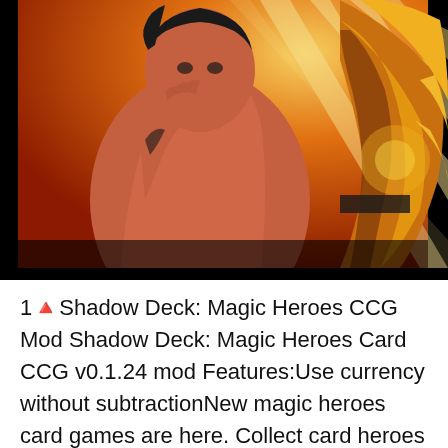[Figure (illustration): Anime-style illustration of a muscular male fighter with black hair, tattoos on his arm, glowing with golden fire/energy on an orange and red background with radial light beams. Two characters visible: one in foreground posing with hand near chin, another partially visible on the right side engulfed in golden flames.]
1🔺Shadow Deck: Magic Heroes CCG Mod Shadow Deck: Magic Heroes Card CCG v0.1.24 mod Features:Use currency without subtractionNew magic heroes card games are here. Collect card heroes and build the best Shadow deck heroes for